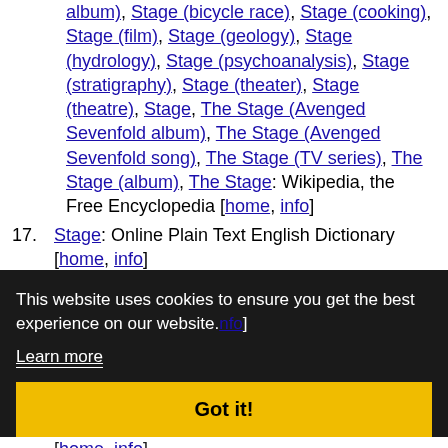album), Stage (bicycle race), Stage (cooking), Stage (film), Stage (geology), Stage (hydrology), Stage (psychoanalysis), Stage (stratigraphy), Stage (theater), Stage (theatre), Stage, The Stage (Avenged Sevenfold album), The Stage (Avenged Sevenfold song), The Stage (TV series), The Stage (album), The Stage: Wikipedia, the Free Encyclopedia [home, info]
17. Stage: Online Plain Text English Dictionary [home, info]
18. stage: Webster's Revised Unabridged, ...
19. ... [info]
20. stage: AllWords.com Multi-Lingual Dictionary [home, info]
21. stage: Webster's 1828 Dictionary [home, info]
22. STAGE: Dictionary of Americanisms (1848) [home, info]
23. ...
This website uses cookies to ensure you get the best experience on our website.
Learn more
Got it!